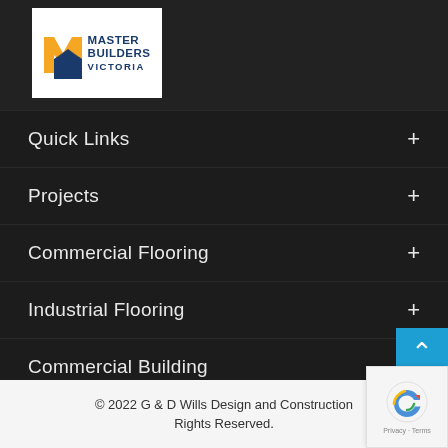[Figure (logo): Master Builders Victoria logo with orange and blue M-house icon and bold text]
Quick Links +
Projects +
Commercial Flooring +
Industrial Flooring +
Commercial Building +
© 2022 G & D Wills Design and Construction Rights Reserved.